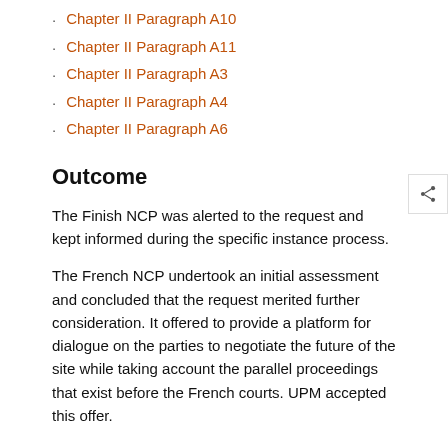Chapter II Paragraph A10
Chapter II Paragraph A11
Chapter II Paragraph A3
Chapter II Paragraph A4
Chapter II Paragraph A6
Outcome
The Finish NCP was alerted to the request and kept informed during the specific instance process.
The French NCP undertook an initial assessment and concluded that the request merited further consideration. It offered to provide a platform for dialogue on the parties to negotiate the future of the site while taking account the parallel proceedings that exist before the French courts. UPM accepted this offer.